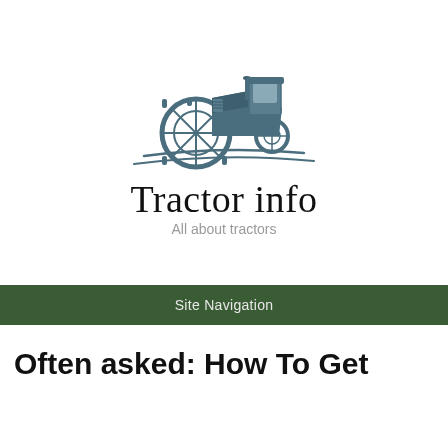[Figure (logo): Tractor info website logo: a blue-grey illustrated tractor facing left with ground lines beneath it]
Tractor info
All about tractors
Site Navigation
Often asked: How To Get